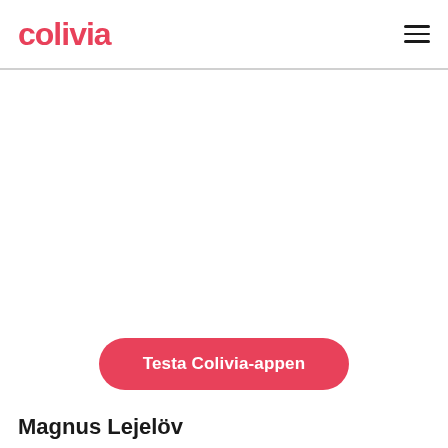colivia
[Figure (logo): Colivia logo in pink/red color with hamburger menu icon on the right]
Testa Colivia-appen
Magnus Lejelöv